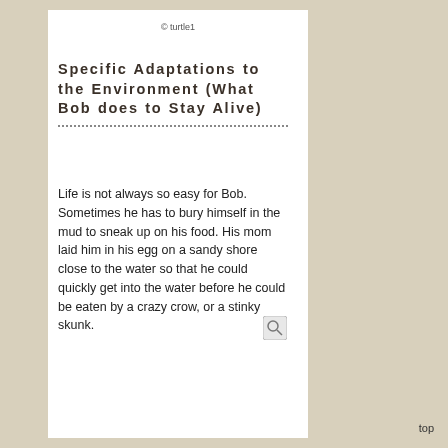© turtle1
Specific Adaptations to the Environment (What Bob does to Stay Alive)
Life is not always so easy for Bob. Sometimes he has to bury himself in the mud to sneak up on his food. His mom laid him in his egg on a sandy shore close to the water so that he could quickly get into the water before he could be eaten by a crazy crow, or a stinky skunk.
top